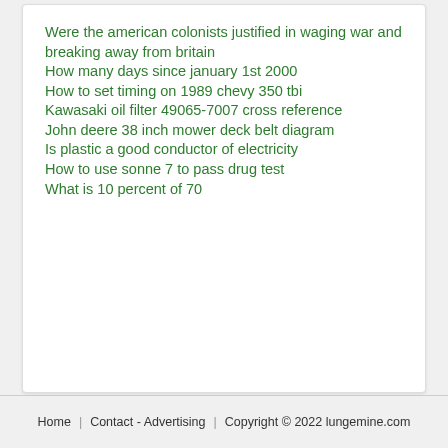Were the american colonists justified in waging war and breaking away from britain
How many days since january 1st 2000
How to set timing on 1989 chevy 350 tbi
Kawasaki oil filter 49065-7007 cross reference
John deere 38 inch mower deck belt diagram
Is plastic a good conductor of electricity
How to use sonne 7 to pass drug test
What is 10 percent of 70
Home  |  Contact - Advertising  |  Copyright © 2022 lungemine.com